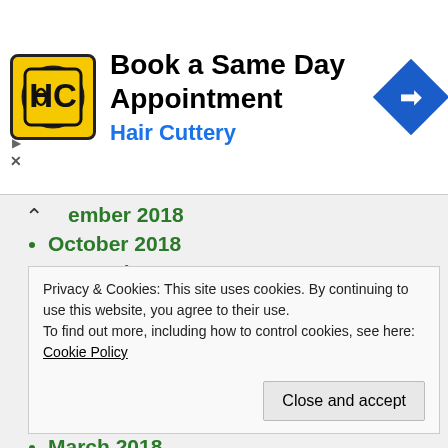[Figure (logo): Hair Cuttery advertisement banner with HC logo, title 'Book a Same Day Appointment', subtitle 'Hair Cuttery', and a blue navigation diamond icon on the right]
ember 2018 (partially visible, collapsed)
October 2018
September 2018
August 2018
July 2018
June 2018
May 2018
April 2018
March 2018
February 2018
Privacy & Cookies: This site uses cookies. By continuing to use this website, you agree to their use.
To find out more, including how to control cookies, see here: Cookie Policy
June 2017 (partially visible)